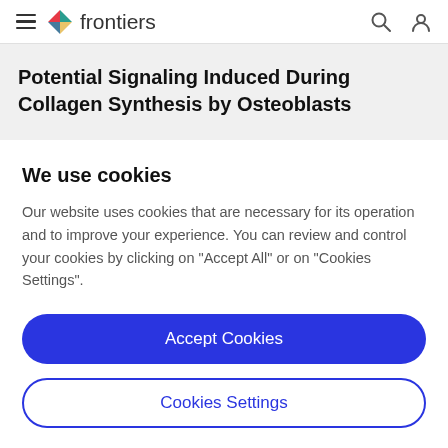frontiers
Potential Signaling Induced During Collagen Synthesis by Osteoblasts
We use cookies
Our website uses cookies that are necessary for its operation and to improve your experience. You can review and control your cookies by clicking on "Accept All" or on "Cookies Settings".
Accept Cookies
Cookies Settings